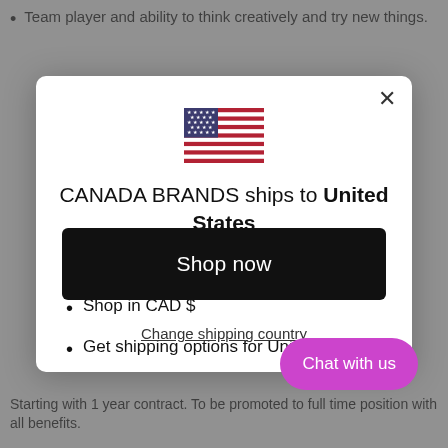Team player and ability to think creatively and try new things.
[Figure (screenshot): Modal dialog showing a US flag and text: CANADA BRANDS ships to United States, with list items: Shop in CAD $, Get shipping options for United States, a black Shop now button, and a Change shipping country link. A purple Chat with us button overlaps the bottom-right of the modal.]
Starting with 1 year contract. To be promoted to full time position with all benefits.